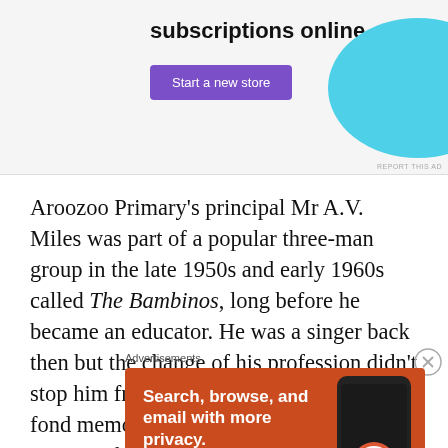[Figure (screenshot): Top advertisement banner with purple 'Start a new store' button and cyan decorative shape on grey background, with 'subscriptions online' text and 'REPORT THIS AD' small text]
Aroozoo Primary's principal Mr A.V. Miles was part of a popular three-man group in the late 1950s and early 1960s called The Bambinos, long before he became an educator. He was a singer back then but the change of his profession didn't stop him from singing. Ex-students had fond memories of Mr Miles playing the piano to the tune of “My Bonnie Lies over the Ocean” during morning
Advertisements
[Figure (screenshot): DuckDuckGo advertisement on orange/red background: 'Search, browse, and email with more privacy. All in One Free App' with phone mockup showing DuckDuckGo app and logo]